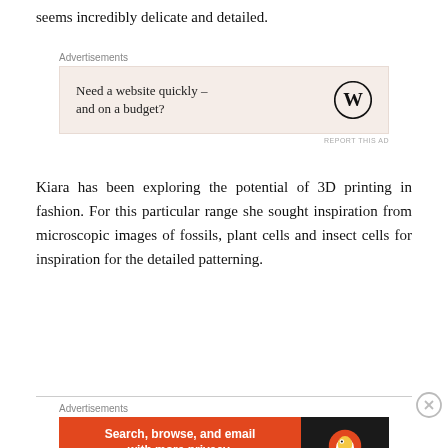seems incredibly delicate and detailed.
[Figure (other): WordPress advertisement: 'Need a website quickly – and on a budget?' with WordPress logo on beige background]
Kiara has been exploring the potential of 3D printing in fashion. For this particular range she sought inspiration from microscopic images of fossils, plant cells and insect cells for inspiration for the detailed patterning.
[Figure (other): DuckDuckGo advertisement: 'Search, browse, and email with more privacy. All in One Free App' on orange background with DuckDuckGo logo on dark background]